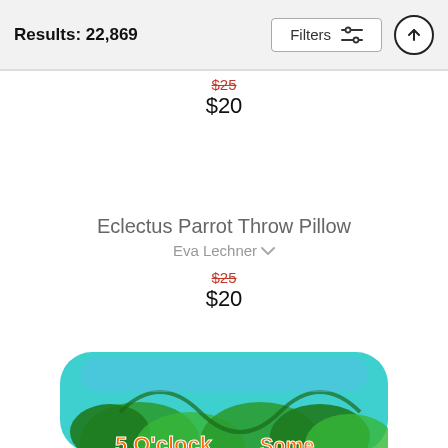Results: 22,869
$25
$20
Eclectus Parrot Throw Pillow
Eva Lechner
$25
$20
[Figure (photo): Bottom portion of a colorful throw pillow with a tropical parrot design on teal background, partially visible at bottom of screen]